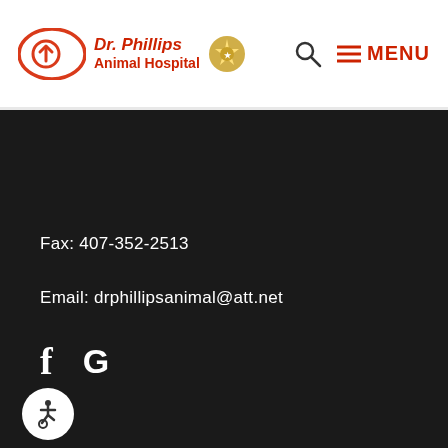[Figure (logo): Dr. Phillips Animal Hospital logo with red oval containing upward arrow and red text name, plus a gold badge icon]
≡ MENU
Fax: 407-352-2513
Email: drphillipsanimal@att.net
[Figure (other): Facebook and Google social media icons (f and G) in white]
Address
7600 Dr Phillips Blvd. #142
Orlando, Florida, 32819
[Figure (other): White accessibility wheelchair icon in a white circle on dark background]